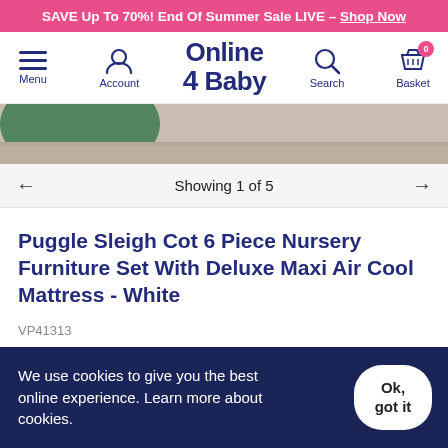SAVE Up To 70%! End Of Summer Sale LIVE – Shop Now
[Figure (logo): Online 4 Baby logo with navigation icons: Menu (hamburger), Account (person icon), Online 4 Baby logo, Search (magnifier), Basket (basket icon with 0 badge)]
[Figure (photo): Partial product image showing a wooden floor with a green circular rug/mat edge]
Showing 1 of 5
Puggle Sleigh Cot 6 Piece Nursery Furniture Set With Deluxe Maxi Air Cool Mattress - White
VP41313
We use cookies to give you the best online experience. Learn more about cookies.